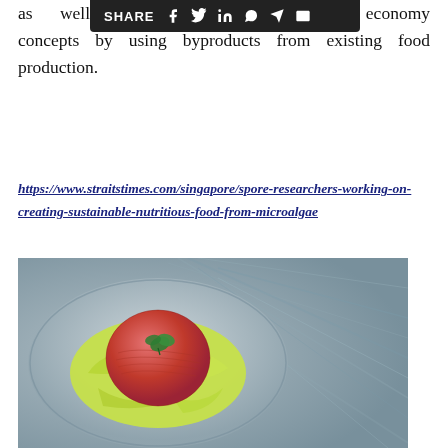as well as circular economy concepts by using byproducts from existing food production.
https://www.straitstimes.com/singapore/spore-researchers-working-on-creating-sustainable-nutritious-food-from-microalgae
[Figure (photo): A plate with a round red/pink patty (plant-based or raw meat alternative) on green lettuce leaves, garnished with a small herb sprig, placed on a grey textured stone surface, viewed from above.]